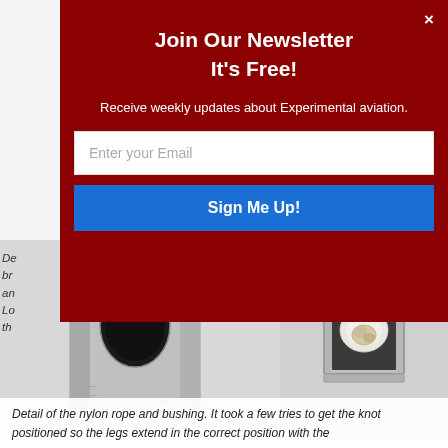[Figure (screenshot): Newsletter signup modal overlay on an aviation engineering article page. Dark red modal with white text showing 'Join Our Newsletter It's Free!' with email input and Sign Me Up button. Background shows partially visible article text and metal bracket photos.]
Join Our Newsletter
It's Free!
Receive weekly updates about Experimental aviation.
[Figure (photo): Two photos of metal brackets/hardware showing nylon rope and bushing detail. Left photo shows a rectangular metal block with an oval hole and braided cable. Right photo shows interior of a square metal tube with a white nylon bushing and knotted rope inside.]
Detail of the nylon rope and bushing. It took a few tries to get the knot positioned so the legs extend in the correct position with the